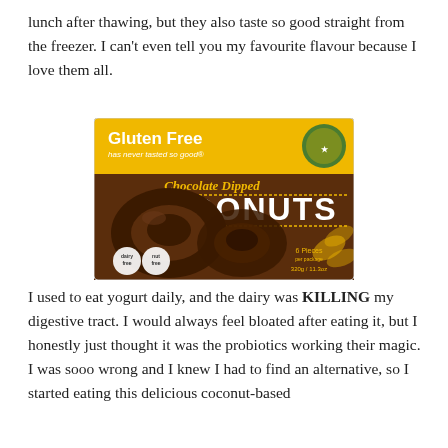lunch after thawing, but they also taste so good straight from the freezer. I can't even tell you my favourite flavour because I love them all.
[Figure (photo): Product box of Gluten Free Chocolate Dipped Donuts. Yellow and brown packaging showing two chocolate-dipped donuts. Text reads 'Gluten Free has never tasted so good' and 'Chocolate Dipped DONUTS', 6 pieces, dairy free, nut free, 320g / 11.3oz.]
I used to eat yogurt daily, and the dairy was KILLING my digestive tract. I would always feel bloated after eating it, but I honestly just thought it was the probiotics working their magic. I was sooo wrong and I knew I had to find an alternative, so I started eating this delicious coconut-based